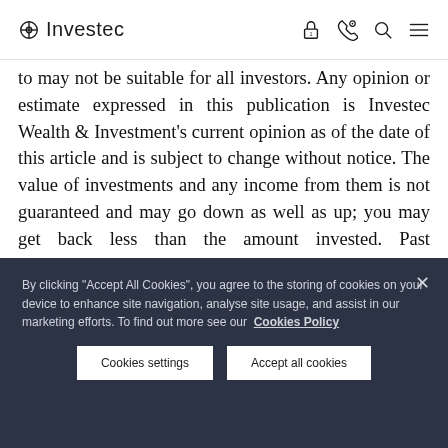Investec
to may not be suitable for all investors. Any opinion or estimate expressed in this publication is Investec Wealth & Investment's current opinion as of the date of this article and is subject to change without notice. The value of investments and any income from them is not guaranteed and may go down as well as up; you may get back less than the amount invested. Past performance is not an indication of future performance.
By clicking "Accept All Cookies", you agree to the storing of cookies on your device to enhance site navigation, analyse site usage, and assist in our marketing efforts. To find out more see our Cookies Policy
Cookies settings
Accept all cookies